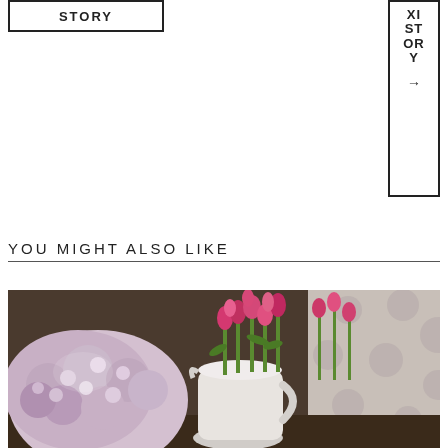STORY
NEXT STORY →
YOU MIGHT ALSO LIKE
[Figure (photo): A white ceramic pitcher filled with pink tulip bouquets and pink hydrangeas arranged on a surface with a patterned curtain in the background.]